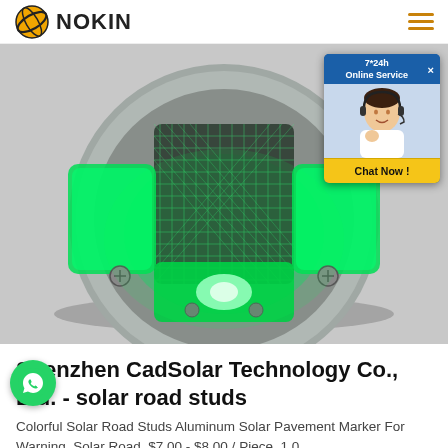NOKIN
[Figure (photo): Close-up photo of a circular solar road stud device glowing with bright green LED light. The device has a metallic/aluminum housing with reflective cross-hatched pattern and green transparent LED cover. A customer service chat popup with a woman wearing a headset is overlaid on the upper right corner of the image, with a 'Chat Now!' button.]
Shenzhen CadSolar Technology Co., Ltd. - solar road studs
Colorful Solar Road Studs Aluminum Solar Pavement Marker For Warning. Solar Road. $7.00 - $8.00 / Piece. 1.0...